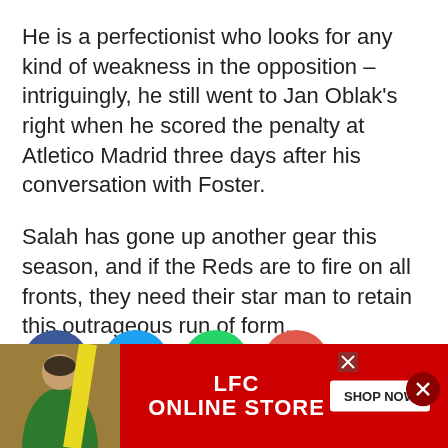He is a perfectionist who looks for any kind of weakness in the opposition – intriguingly, he still went to Jan Oblak's right when he scored the penalty at Atletico Madrid three days after his conversation with Foster.
Salah has gone up another gear this season, and if the Reds are to fire on all fronts, they need their star man to retain this outrageous run of form.
Sort that new contract out, FSG.
[Figure (infographic): Social share buttons: Facebook (blue circle), Twitter (light blue circle), WhatsApp (green circle), Email (red circle)]
[Figure (infographic): LFC Online Store advertisement banner with red background, person in green jersey, yellow diagonal slash, LFC ONLINE STORE text in white, and SHOP NOW button]